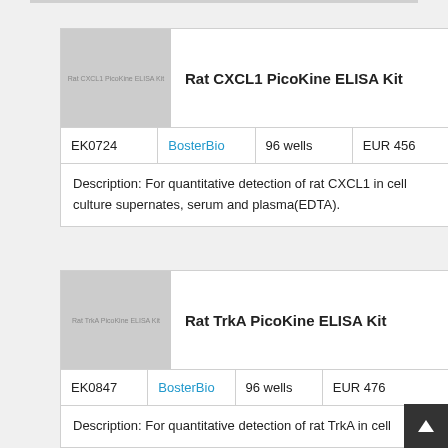[Figure (photo): Product image placeholder for Rat CXCL1 PicoKine ELISA Kit]
Rat CXCL1 PicoKine ELISA Kit
| EK0724 | BosterBio | 96 wells | EUR 456 |
| --- | --- | --- | --- |
Description: For quantitative detection of rat CXCL1 in cell culture supernates, serum and plasma(EDTA).
[Figure (photo): Product image placeholder for Rat TrkA PicoKine ELISA Kit]
Rat TrkA PicoKine ELISA Kit
| EK0847 | BosterBio | 96 wells | EUR 476 |
| --- | --- | --- | --- |
Description: For quantitative detection of rat TrkA in cell